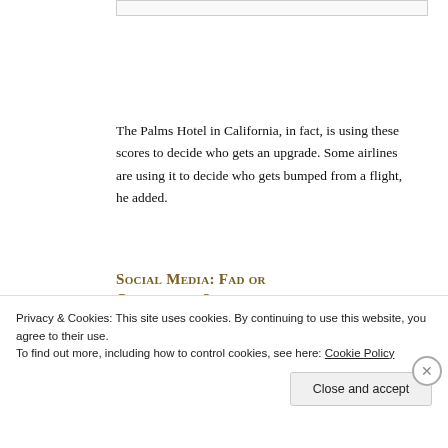The Palms Hotel in California, in fact, is using these scores to decide who gets an upgrade. Some airlines are using it to decide who gets bumped from a flight, he added.
Social Media: Fad or Opportunity?
Offering up a recent study of Facebook usage,
Privacy & Cookies: This site uses cookies. By continuing to use this website, you agree to their use.
To find out more, including how to control cookies, see here: Cookie Policy